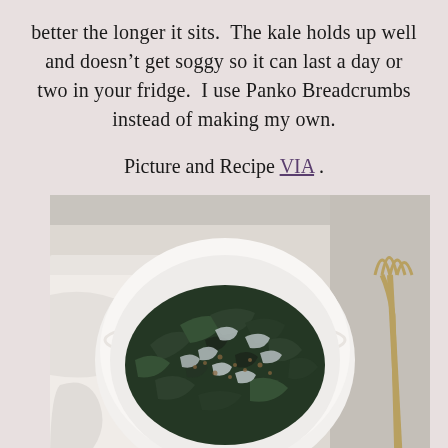better the longer it sits.  The kale holds up well and doesn't get soggy so it can last a day or two in your fridge.  I use Panko Breadcrumbs instead of making my own.
Picture and Recipe VIA .
[Figure (photo): Overhead photo of a white bowl containing a kale salad topped with shaved parmesan cheese and breadcrumbs, placed on a white cloth with a wooden/gold fork visible to the right.]